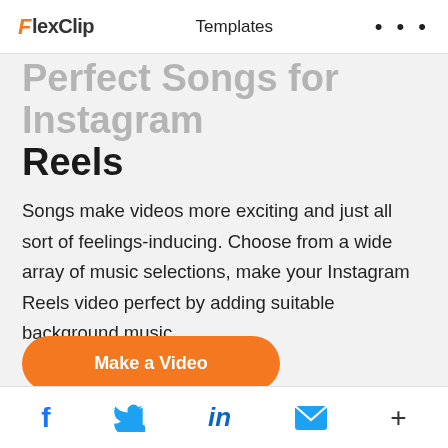FlexClip  Templates  ...
Perfect Songs for Instagram Reels
Songs make videos more exciting and just all sort of feelings-inducing. Choose from a wide array of music selections, make your Instagram Reels video perfect by adding suitable background music.
Make a Video
f  Twitter  in  Email  +